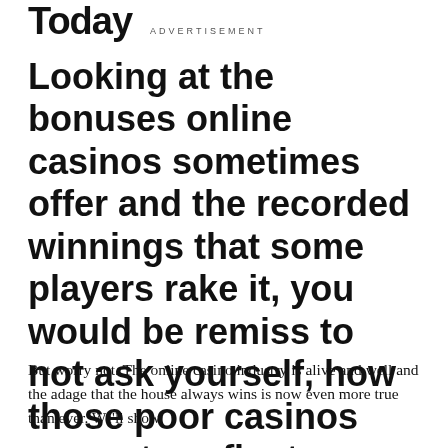Today   ADVERTISEMENT
Looking at the bonuses online casinos sometimes offer and the recorded winnings that some players rake it, you would be remiss to not ask yourself, how those poor casinos even stay afloat.
But worry not. The online casino industry is alive and well and the adage that the house always wins is now even more true than ever. We'll show